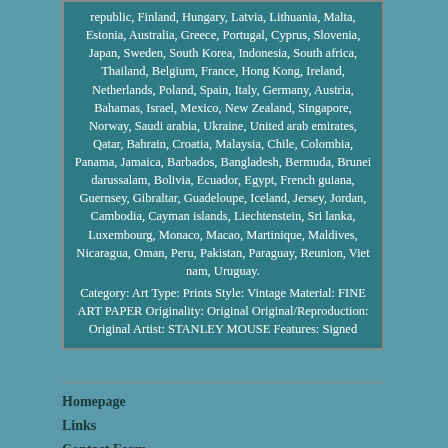republic, Finland, Hungary, Latvia, Lithuania, Malta, Estonia, Australia, Greece, Portugal, Cyprus, Slovenia, Japan, Sweden, South Korea, Indonesia, South africa, Thailand, Belgium, France, Hong Kong, Ireland, Netherlands, Poland, Spain, Italy, Germany, Austria, Bahamas, Israel, Mexico, New Zealand, Singapore, Norway, Saudi arabia, Ukraine, United arab emirates, Qatar, Bahrain, Croatia, Malaysia, Chile, Colombia, Panama, Jamaica, Barbados, Bangladesh, Bermuda, Brunei darussalam, Bolivia, Ecuador, Egypt, French guiana, Guernsey, Gibraltar, Guadeloupe, Iceland, Jersey, Jordan, Cambodia, Cayman islands, Liechtenstein, Sri lanka, Luxembourg, Monaco, Macao, Martinique, Maldives, Nicaragua, Oman, Peru, Pakistan, Paraguay, Reunion, Viet nam, Uruguay.
Category: Art Type: Prints Style: Vintage Material: FINE ART PAPER Originality: Original Original/Reproduction: Original Artist: STANLEY MOUSE Features: Signed
Homepage
Links
Contact Form
Privacy Policies
Service Agreement